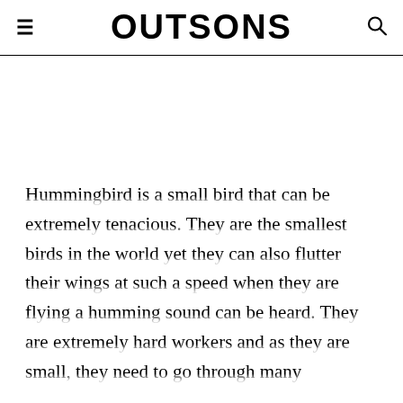OUTSONS
Hummingbird is a small bird that can be extremely tenacious. They are the smallest birds in the world yet they can also flutter their wings at such a speed when they are flying a humming sound can be heard. They are extremely hard workers and as they are small, they need to go through many